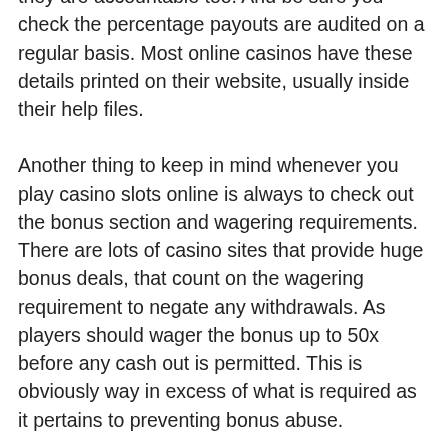they are accountable too. And be sure you check the percentage payouts are audited on a regular basis. Most online casinos have these details printed on their website, usually inside their help files.
Another thing to keep in mind whenever you play casino slots online is always to check out the bonus section and wagering requirements. There are lots of casino sites that provide huge bonus deals, that count on the wagering requirement to negate any withdrawals. As players should wager the bonus up to 50x before any cash out is permitted. This is obviously way in excess of what is required as it pertains to preventing bonus abuse.
There is to take into account when choosing the right to casino, and finding the most effective online slots which